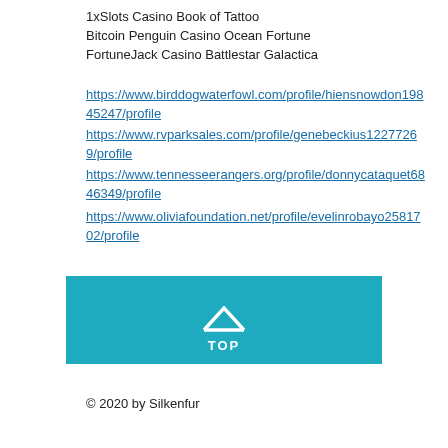1xSlots Casino Book of Tattoo
Bitcoin Penguin Casino Ocean Fortune
FortuneJack Casino Battlestar Galactica
https://www.birddogwaterfowl.com/profile/hiensnowdon19845247/profile
https://www.rvparksales.com/profile/genebeckius12277269/profile
https://www.tennesseerangers.org/profile/donnycataquet6846349/profile
https://www.oliviafoundation.net/profile/evelinrobayo2581702/profile
[Figure (other): Teal/blue-green box with upward chevron arrow and the word TOP, used as a back-to-top navigation button]
© 2020 by Silkenfur